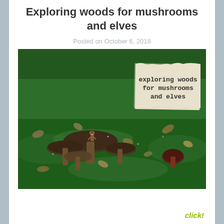Exploring woods for mushrooms and elves
Posted on October 6, 2018
[Figure (photo): Close-up photograph of mushrooms growing in green grass on a forest floor with fallen leaves scattered around. A small figurine (elf) sits atop one of the mushrooms. In the upper right of the image there is a torn paper sign reading 'exploring woods for mushrooms and elves'.]
click!